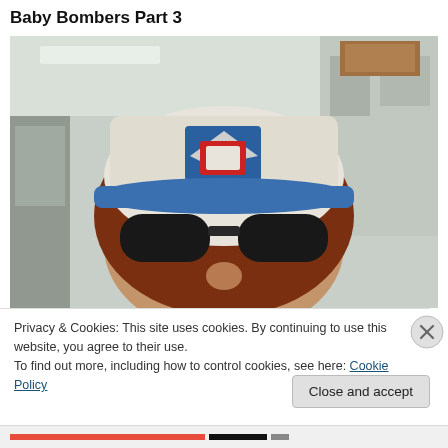Baby Bombers Part 3
[Figure (photo): Close-up photo of a person wearing a white baseball cap with a blue brim (Staten Island Yankees logo) and large dark sunglasses, taken in what appears to be an indoor public space.]
Privacy & Cookies: This site uses cookies. By continuing to use this website, you agree to their use.
To find out more, including how to control cookies, see here: Cookie Policy